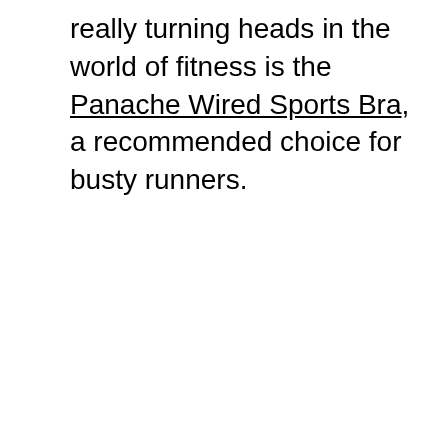really turning heads in the world of fitness is the Panache Wired Sports Bra, a recommended choice for busty runners.